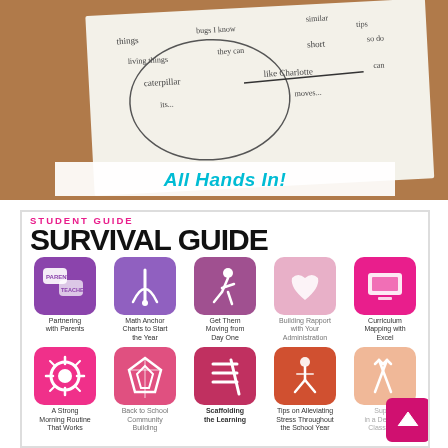[Figure (photo): Photo of handwritten papers on a wooden desk with words and circles drawn on them]
All Hands In!
[Figure (infographic): Student Survival Guide infographic with 10 colorful icon tiles in two rows. Row 1: Partnering with Parents, Math Anchor Charts to Start the Year, Get Them Moving from Day One, Building Rapport with Your Administration, Curriculum Mapping with Excel. Row 2: A Strong Morning Routine That Works, Back to School Community Building, Scaffolding the Learning, Tips on Alleviating Stress Throughout the School Year, Supply [List] in a Departmentalized Classroom]